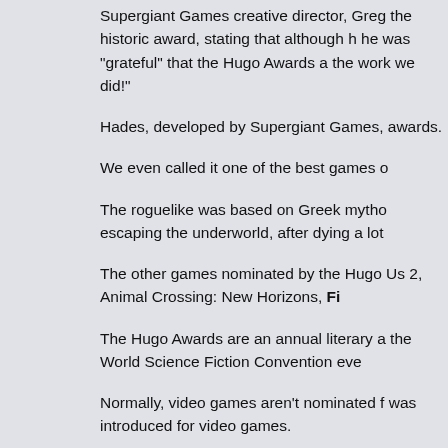Supergiant Games creative director, Greg the historic award, stating that although h he was "grateful" that the Hugo Awards a the work we did!"
Hades, developed by Supergiant Games, awards.
We even called it one of the best games o
The roguelike was based on Greek mytho escaping the underworld, after dying a lot
The other games nominated by the Hugo Us 2, Animal Crossing: New Horizons, Fi
The Hugo Awards are an annual literary a the World Science Fiction Convention eve
Normally, video games aren't nominated f was introduced for video games.
This follows years of conversations amon and long-running Hugo Awards.